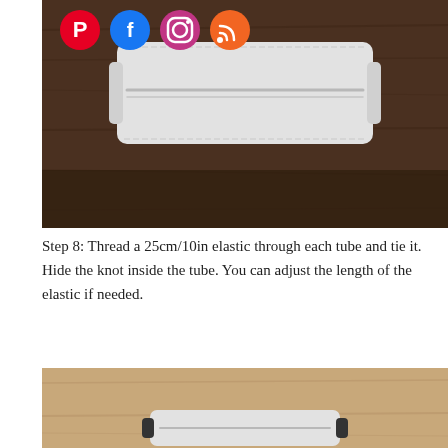[Figure (photo): A white/light gray fabric face mask laid flat on a dark wood surface, viewed from above. Social media icons (Pinterest, Facebook, Instagram, RSS) are visible in the top-left corner overlapping the photo.]
Step 8: Thread a 25cm/10in elastic through each tube and tie it. Hide the knot inside the tube. You can adjust the length of the elastic if needed.
[Figure (photo): A white/light gray fabric face mask with black elastic bands, laid flat on a light wood grain surface, viewed from above, partially cropped at the bottom of the page.]